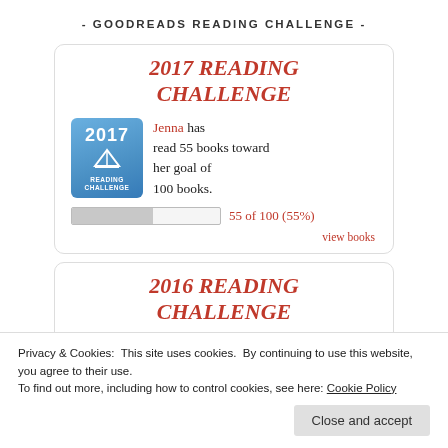- GOODREADS READING CHALLENGE -
2017 READING CHALLENGE
Jenna has read 55 books toward her goal of 100 books.
[Figure (infographic): Progress bar showing 55 of 100 (55%) with label '55 of 100 (55%)']
view books
2016 READING CHALLENGE
Privacy & Cookies: This site uses cookies. By continuing to use this website, you agree to their use. To find out more, including how to control cookies, see here: Cookie Policy
Close and accept